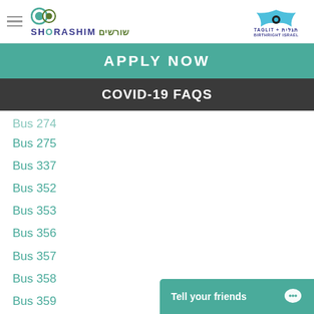[Figure (logo): Shorashim logo with two circular icons and Hebrew/English text]
[Figure (logo): Taglit + Birthright Israel logo with star/bird icon and Hebrew/English text]
APPLY NOW
COVID-19 FAQS
Bus 274
Bus 275
Bus 337
Bus 352
Bus 353
Bus 356
Bus 357
Bus 358
Bus 359
Bus 360
Bus 361
Tell your friends